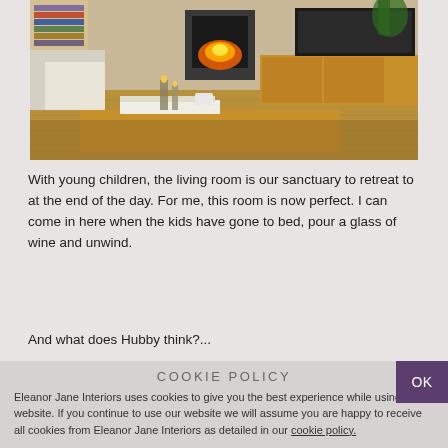[Figure (photo): Interior photo of a cozy living room with a wood-burning stove with fire lit, oak TV unit, coffee table with books and mug, candles and lanterns, and a bookshelf in the background]
With young children, the living room is our sanctuary to retreat to at the end of the day. For me, this room is now perfect. I can come in here when the kids have gone to bed, pour a glass of wine and unwind.
And what does Hubby think?...
COOKIE POLICY
Eleanor Jane Interiors uses cookies to give you the best experience while using our website. If you continue to use our website we will assume you are happy to receive all cookies from Eleanor Jane Interiors as detailed in our cookie policy.